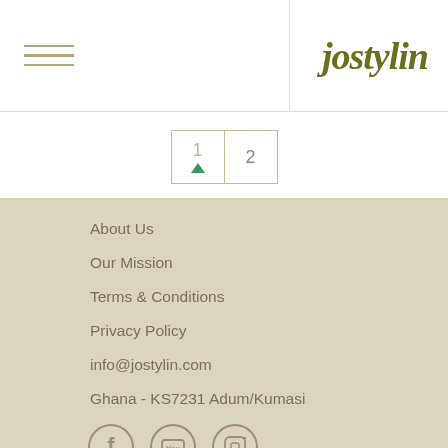jostylin
1  2
About Us
Our Mission
Terms & Conditions
Privacy Policy
info@jostylin.com
Ghana - KS7231 Adum/Kumasi
[Figure (other): Social media icons: Facebook, YouTube, Instagram]
Jostylin inc. © Copyright 2022   jostylin